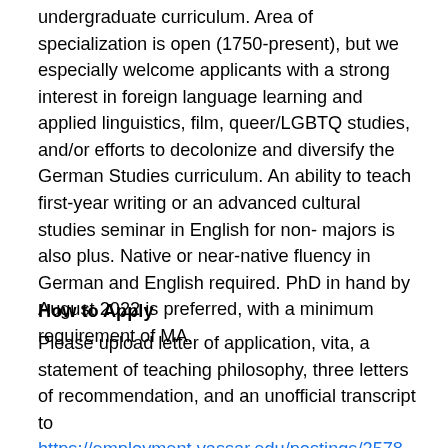undergraduate curriculum. Area of specialization is open (1750-present), but we especially welcome applicants with a strong interest in foreign language learning and applied linguistics, film, queer/LGBTQ studies, and/or efforts to decolonize and diversify the German Studies curriculum. An ability to teach first-year writing or an advanced cultural studies seminar in English for non-majors is also plus. Native or near-native fluency in German and English required. PhD in hand by August 2022 is preferred, with a minimum requirement of MA.
How to Apply
Please upload letter of application, vita, a statement of teaching philosophy, three letters of recommendation, and an unofficial transcript to https://employment.vassar.edu/postings/2578. Review of applications will begin on May 23, 2022, and continue until the position has been filled. Please direct any inquiries about the position to Jeffrey Schneider, Chair of German Studies, at jschneider@vassar.edu.